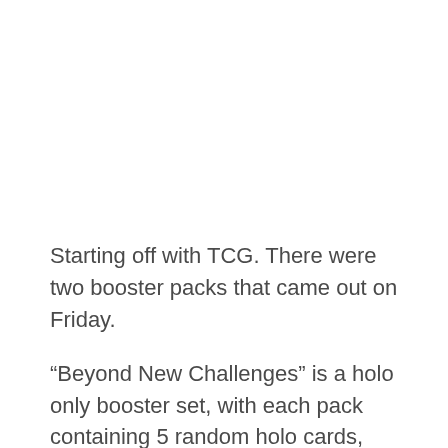Starting off with TCG. There were two booster packs that came out on Friday.
“Beyond New Challenges” is a holo only booster set, with each pack containing 5 random holo cards, including 1 energy card.